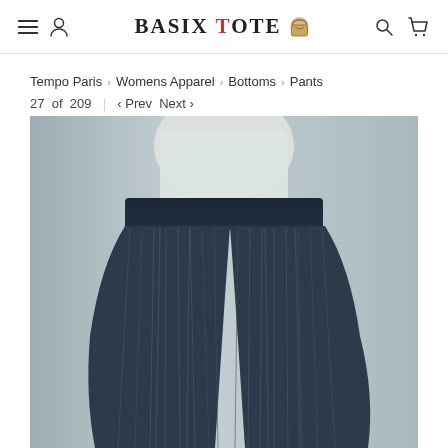BASIX TOTE — navigation header with menu, user, search, and cart icons
Tempo Paris › Womens Apparel › Bottoms › Pants
27  of  209  |  ‹ Prev  Next ›
[Figure (photo): Product photo of dark navy pleated wide-leg pants with elastic waistband, worn with a white blouse, on a light gray background.]